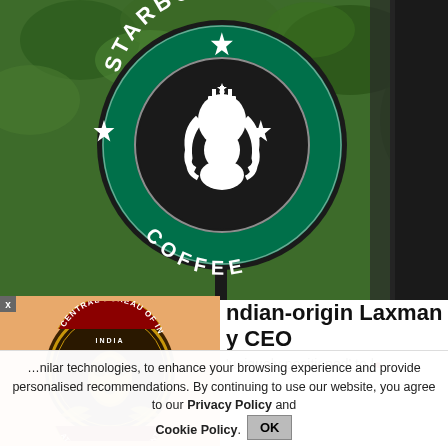[Figure (photo): Starbucks Coffee circular sign hanging outdoors with green background and white mermaid logo, surrounded by leafy green foliage]
[Figure (logo): Central Bureau of Investigation India emblem badge, golden Ashoka lion on dark brown background]
…ndian-origin Laxman …y CEO
'uniquely positioned' to l…
…nilar technologies, to enhance your browsing experience and provide personalised recommendations. By continuing to use our website, you agree to our Privacy Policy and Cookie Policy.